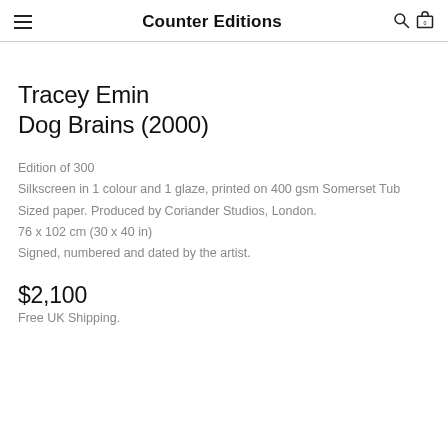Counter Editions
Tracey Emin
Dog Brains (2000)
Edition of 300
Silkscreen in 1 colour and 1 glaze, printed on 400 gsm Somerset Tub Sized paper. Produced by Coriander Studios, London.
76 x 102 cm (30 x 40 in)
Signed, numbered and dated by the artist.
$2,100
Free UK Shipping.